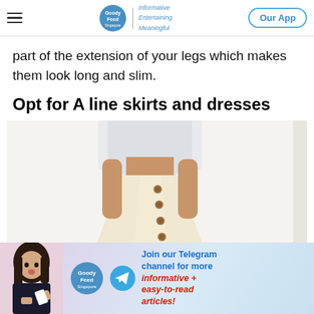Goody Feed | Informative Entertaining Meaningful | Our App
part of the extension of your legs which makes them look long and slim.
Opt for A line skirts and dresses
[Figure (photo): Woman wearing a white top and cream/beige A-line button-front midi skirt]
[Figure (infographic): Goody Feed Telegram channel advertisement banner with woman pointing, Goody Feed logo, Telegram logo, and text: Join our Telegram channel for more informative + easy-to-read articles!]